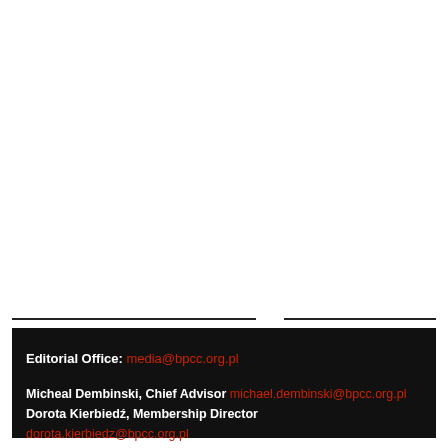Editorial Office: media@bpcc.org.pl
Micheal Dembinski, Chief Advisor michael.dembinski@bpcc.org.pl
Dorota Kierbiedź, Membership Director dorota.kierbiedz@bpcc.org.pl